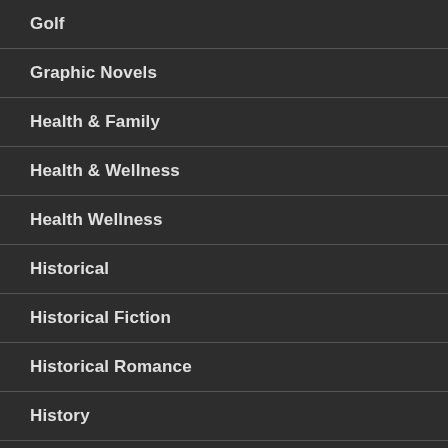Golf
Graphic Novels
Health & Family
Health & Wellness
Health Wellness
Historical
Historical Fiction
Historical Romance
History
History & Culture
Hobbies & Games
Holid…